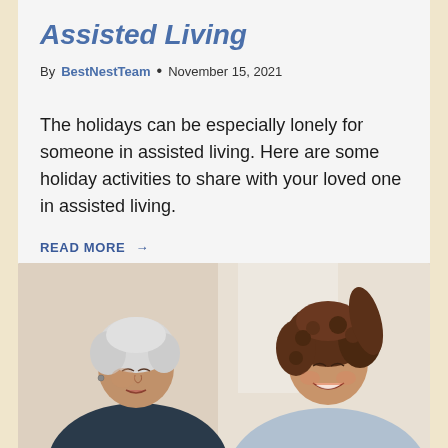Assisted Living
By BestNestTeam • November 15, 2021
The holidays can be especially lonely for someone in assisted living. Here are some holiday activities to share with your loved one in assisted living.
READ MORE →
[Figure (photo): An elderly woman with white hair and a young woman with curly hair smiling, facing each other in conversation.]